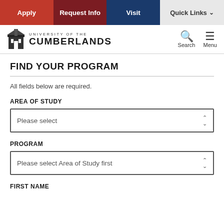Apply | Request Info | Visit | Quick Links
[Figure (logo): University of the Cumberlands logo with building icon]
FIND YOUR PROGRAM
All fields below are required.
AREA OF STUDY
Please select
PROGRAM
Please select Area of Study first
FIRST NAME